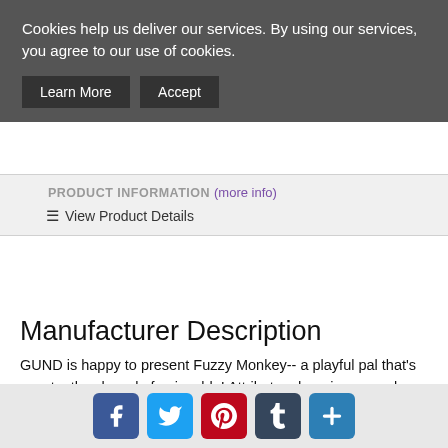Cookies help us deliver our services. By using our services, you agree to our use of cookies.
Learn More  Accept
PRODUCT INFORMATION (more info)
☰ View Product Details
Manufacturer Description
GUND is happy to present Fuzzy Monkey-- a playful pal that's constantly a barrel of enjoyable! Attributes drooping arms, legs, and also tail that make Unclear Monkey the best go-anywhere companion. Messy brown coloring provides a classic touch, while a sideways smile shows severe individuality! As well as at 13.5" high, Unclear Monkey is the best gift for your favorite simian fanatic. As constantly premium and also huggable soft plush makes sure that GUND products remain loyal companions for several years to come. Surface-washable. Ideal for ages one and also up. Regarding GUND: For more than 100 years, GUND has been a premier plush company identified around the world for top quality ingenious products. Structure after our acclaimed and also
[Figure (infographic): Social media sharing bar with icons for Facebook, Twitter, Pinterest, Tumblr, and a plus/share button]